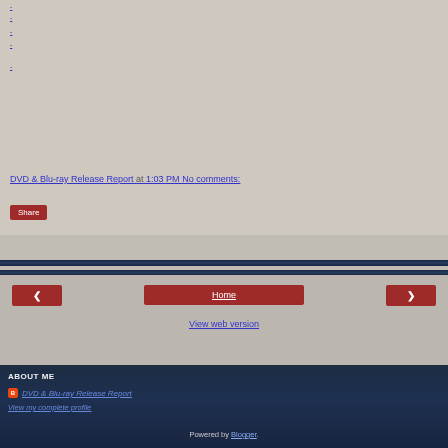-
-
-
-
-
DVD & Blu-ray Release Report at 1:03 PM    No comments:
Share
Home
View web version
ABOUT ME
DVD & Blu-ray Release Report
View my complete profile
Powered by Blogger.